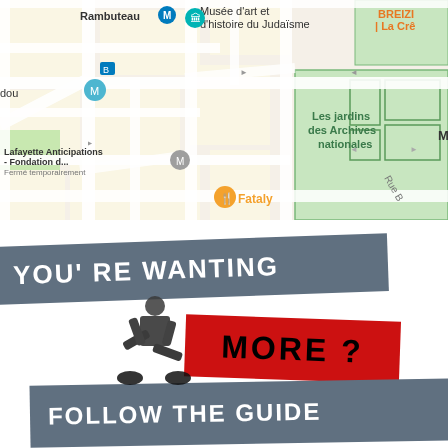[Figure (map): Google Maps screenshot showing the Marais district of Paris, France. Visible landmarks include Rambuteau metro station, Musée d'art et d'histoire du Judaïsme, Les jardins des Archives nationales, Lafayette Anticipations - Fondation d... (Fermé temporairement), Fataly restaurant, and BREIZI / La Crê in the top-right corner. Various bus stop icons and street intersections are visible.]
[Figure (infographic): Promotional graphic with dark gray banner reading 'YOU'RE WANTING', a red banner reading 'MORE ?', a figure of a person in dark clothing (dancer/guide figure), and another dark gray banner reading 'FOLLOW THE GUIDE'. White background.]